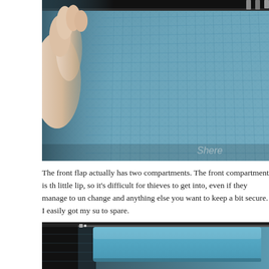[Figure (photo): Close-up photo of a blue quilted/woven fabric bag interior being held open by a hand, showing stitched texture pattern. Watermark 'Shere' visible in lower right.]
The front flap actually has two compartments. The front compartment is th... little lip, so it's difficult for thieves to get into, even if they manage to un... change and anything else you want to keep a bit secure. I easily got my su... to spare.
[Figure (photo): Close-up photo of a teal/blue bag interior showing smooth fabric lining and compartment opening, with zipper visible at top.]